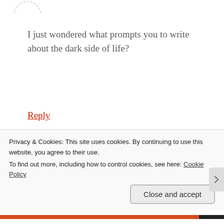[Figure (illustration): Partial view of a dashed circular avatar/profile image at top left, cropped.]
I just wondered what prompts you to write about the dark side of life?
Reply
[Figure (photo): Circular avatar photo of loutreleaven, a woman with dark hair, framed with a red dashed circular border.]
loutreleaven
APRIL 18, 2011 AT 8:25 PM
Interesting question! Well, I'm fascinated by the human
Privacy & Cookies: This site uses cookies. By continuing to use this website, you agree to their use.
To find out more, including how to control cookies, see here: Cookie Policy
Close and accept